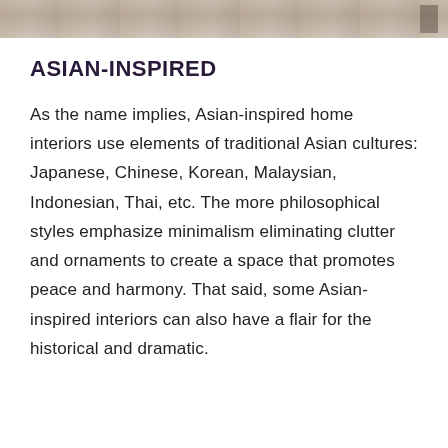[Figure (photo): Partial view of an Asian-inspired interior room photo at the top of the page, cropped]
ASIAN-INSPIRED
As the name implies, Asian-inspired home interiors use elements of traditional Asian cultures: Japanese, Chinese, Korean, Malaysian, Indonesian, Thai, etc. The more philosophical styles emphasize minimalism eliminating clutter and ornaments to create a space that promotes peace and harmony. That said, some Asian-inspired interiors can also have a flair for the historical and dramatic.